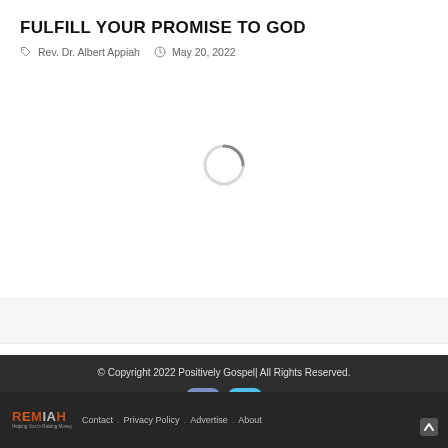FULFILL YOUR PROMISE TO GOD
Rev. Dr. Albert Appiah   May 20, 2022
[Figure (other): Loading spinner circle indicator]
[Figure (other): Gray placeholder bar]
© Copyright 2022 Positively Gospel| All Rights Reserved.
[Figure (other): Facebook and Twitter social media icon buttons]
[Figure (logo): REMIAH logo with orange and gray lettering and tagline]
Contact . Privacy Policy . Advertise . About